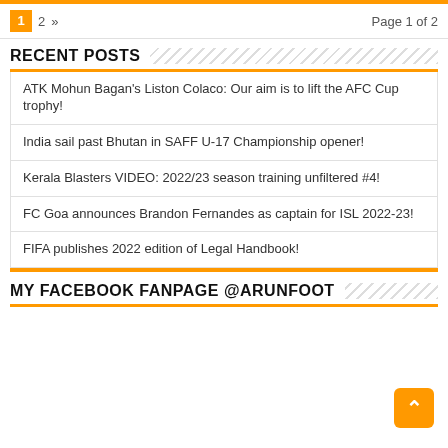1  2  »  Page 1 of 2
RECENT POSTS
ATK Mohun Bagan’s Liston Colaco: Our aim is to lift the AFC Cup trophy!
India sail past Bhutan in SAFF U-17 Championship opener!
Kerala Blasters VIDEO: 2022/23 season training unfiltered #4!
FC Goa announces Brandon Fernandes as captain for ISL 2022-23!
FIFA publishes 2022 edition of Legal Handbook!
MY FACEBOOK FANPAGE @ARUNFOOT